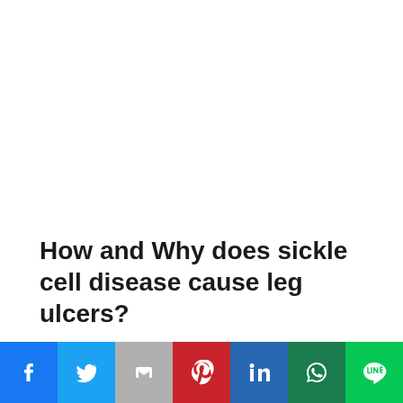How and Why does sickle cell disease cause leg ulcers?
[Figure (other): Social media share bar with icons for Facebook, Twitter, Gmail/Google, Pinterest, LinkedIn, WhatsApp, and LINE]